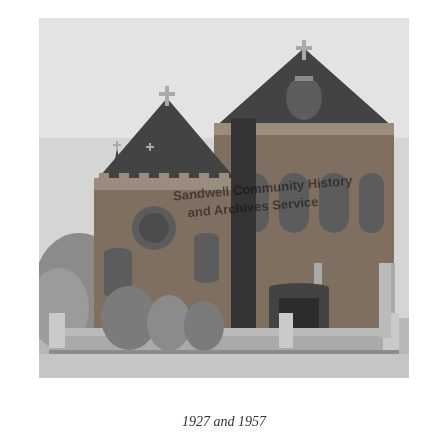[Figure (photo): Black and white photograph of a Victorian Gothic church building, likely taken between 1927 and 1957. The church has pointed spires with crosses, arched windows, decorative brickwork, a pitched roof, and a low boundary wall in front with trees and shrubs. A watermark reads 'Sandwell Community History and Archives Service'.]
1927 and 1957